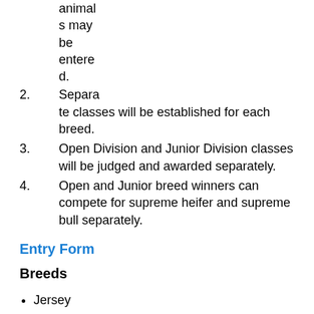animals may be entered.
2. Separate classes will be established for each breed.
3. Open Division and Junior Division classes will be judged and awarded separately.
4. Open and Junior breed winners can compete for supreme heifer and supreme bull separately.
Entry Form
Breeds
Jersey
Guernsey